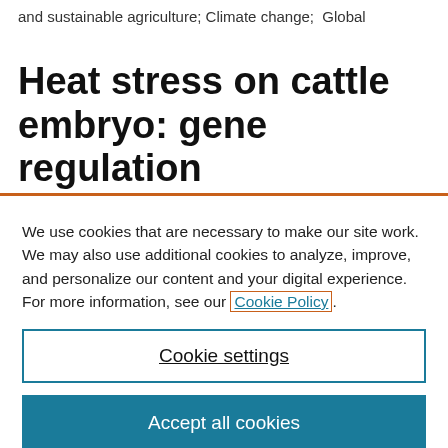and sustainable agriculture; Climate change;  Global
Heat stress on cattle embryo: gene regulation
We use cookies that are necessary to make our site work. We may also use additional cookies to analyze, improve, and personalize our content and your digital experience. For more information, see our Cookie Policy.
Cookie settings
Accept all cookies